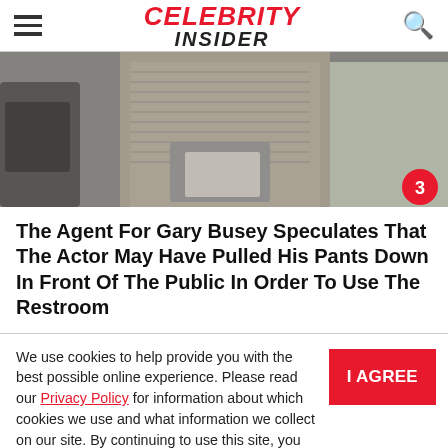Celebrity Insider
[Figure (photo): Outdoor photo of a person in grey/beige clothing holding paper, partial view, blurry background with vehicles. Badge showing number 3 in red circle at bottom right.]
The Agent For Gary Busey Speculates That The Actor May Have Pulled His Pants Down In Front Of The Public In Order To Use The Restroom
We use cookies to help provide you with the best possible online experience. Please read our Privacy Policy for information about which cookies we use and what information we collect on our site. By continuing to use this site, you agree that we may store and access cookies on your device.